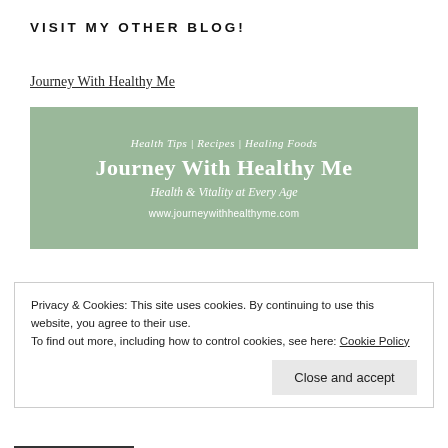VISIT MY OTHER BLOG!
Journey With Healthy Me
[Figure (illustration): Blog banner image with sage green background showing text: 'Health Tips | Recipes | Healing Foods', 'Journey With Healthy Me', 'Health & Vitality at Every Age', 'www.journeywithhealthyme.com']
Privacy & Cookies: This site uses cookies. By continuing to use this website, you agree to their use.
To find out more, including how to control cookies, see here: Cookie Policy
Close and accept